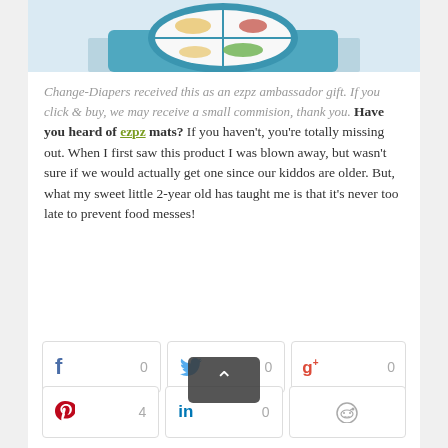[Figure (photo): Top portion of a product photo showing an ezpz mat/plate with food on a blue surface, partially cropped]
Change-Diapers received this as an ezpz ambassador gift. If you click & buy, we may receive a small commision, thank you. Have you heard of ezpz mats? If you haven't, you're totally missing out. When I first saw this product I was blown away, but wasn't sure if we would actually get one since our kiddos are older. But, what my sweet little 2-year old has taught me is that it's never too late to prevent food messes!
[Figure (infographic): Social share buttons row 1: Facebook (0), Twitter (0), Google+ (0)]
[Figure (infographic): Social share buttons row 2: Pinterest (4), LinkedIn (0), Reddit]